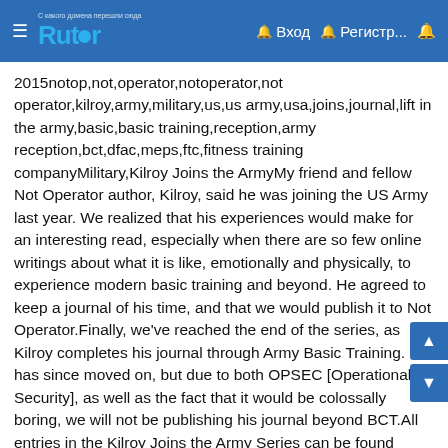Rutor — Вход — Регистр...
2015notop,not,operator,notoperator,not operator,kilroy,army,military,us,us army,usa,joins,journal,lift in the army,basic,basic training,reception,army reception,bct,dfac,meps,ftc,fitness training companyMilitary,Kilroy Joins the ArmyMy friend and fellow Not Operator author, Kilroy, said he was joining the US Army last year. We realized that his experiences would make for an interesting read, especially when there are so few online writings about what it is like, emotionally and physically, to experience modern basic training and beyond. He agreed to keep a journal of his time, and that we would publish it to Not Operator.Finally, we've reached the end of the series, as Kilroy completes his journal through Army Basic Training. He has since moved on, but due to both OPSEC [Operational Security], as well as the fact that it would be colossally boring, we will not be publishing his journal beyond BCT.All entries in the Kilroy Joins the Army Series can be found here.Without further ado, welcome to the final entry of Kilroy Joins the Army – Part XXI – BCT 2. Day 271A day without much impact. With the other half